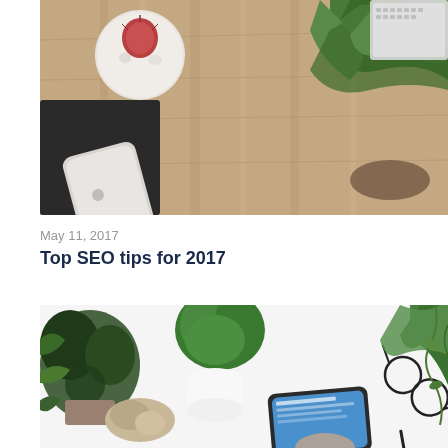[Figure (photo): Overhead flat lay photo of a wooden desk with a smartphone (iPhone), black notebook, small cactus in a white bowl, and a large tropical plant (pineapple top) near a laptop keyboard]
May 11, 2017
Top SEO tips for 2017
[Figure (photo): Overhead flat lay photo of a white desk with several green potted plants, a tablet showing a website, a pair of glasses, and a pen]